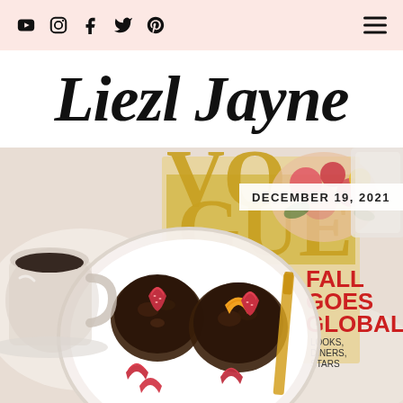Social icons (YouTube, Instagram, Facebook, Twitter, Pinterest) and hamburger menu
Liezl Jayne
[Figure (photo): Overhead flat-lay photo showing a white plate with chocolate cupcakes/tarts topped with fresh strawberry slices and mango, alongside a glass of black coffee, a gold knife, and a Vogue magazine (Fall issue with 'Fall Goes Global' headline) in the background. Date overlay reads DECEMBER 19, 2021.]
DECEMBER 19, 2021